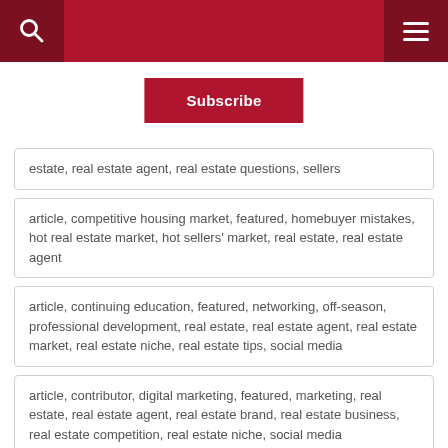Subscribe
estate, real estate agent, real estate questions, sellers
article, competitive housing market, featured, homebuyer mistakes, hot real estate market, hot sellers' market, real estate, real estate agent
article, continuing education, featured, networking, off-season, professional development, real estate, real estate agent, real estate market, real estate niche, real estate tips, social media
article, contributor, digital marketing, featured, marketing, real estate, real estate agent, real estate brand, real estate business, real estate competition, real estate niche, social media